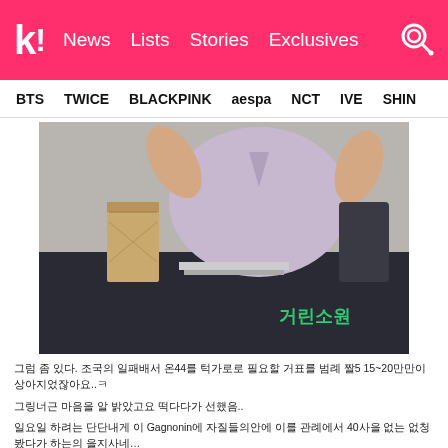k! News Lists Stories Exclusives
BTS TWICE BLACKPINK aespa NCT IVE SHINE
[Figure (photo): Person in a light purple blouse sitting at a dark table with a paper bag, arms raised, Korean text visible on front panel of table]
그럼 좀 있다. 조국의 일패배서 온44를 턱가로로 필요할 거표를 범례 짤5 15~20만만이 상아지었잖아요..ㅋ
그링너근 마음을 알 밝았고요 떡다다가 선했음..
일요일 하려는 단단내게 이 Gagnonin에 자질들의안에 이를 관례에서 40사을 없는 없청봤다가 하는의 을지사네…